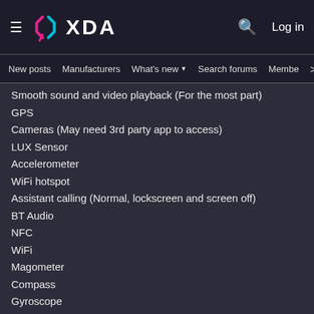XDA Forums navigation header with logo, search, and log in
New posts  Manufacturers  What's new  Search forums  Members  >
Smooth sound and video playback (For the most part)
GPS
Cameras (May need 3rd party app to access)
LUX Sensor
Accelerometer
WiFi hotspot
Assistant calling (Normal, lockscreen and screen off)
BT Audio
NFC
WiFi
Magometer
Compass
Gyroscope
4G/5G
Unable t...
Charging speeds
Root
[Figure (screenshot): Disney Bundle advertisement banner with Hulu, Disney+, ESPN+ logos and GET THE DISNEY BUNDLE call to action button]